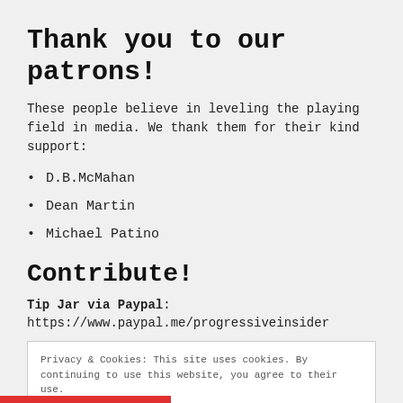Thank you to our patrons!
These people believe in leveling the playing field in media. We thank them for their kind support:
D.B.McMahan
Dean Martin
Michael Patino
Contribute!
Tip Jar via Paypal: https://www.paypal.me/progressiveinsider
Privacy & Cookies: This site uses cookies. By continuing to use this website, you agree to their use. To find out more, including how to control cookies, see here: Cookie Policy